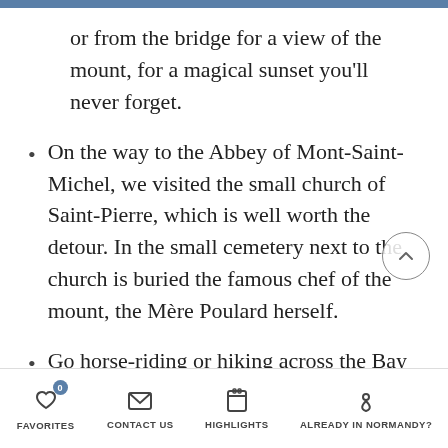or from the bridge for a view of the mount, for a magical sunset you'll never forget.
On the way to the Abbey of Mont-Saint-Michel, we visited the small church of Saint-Pierre, which is well worth the detour. In the small cemetery next to the church is buried the famous chef of the mount, the Mère Poulard herself.
Go horse-riding or hiking across the Bay of the Mont-Saint-Michel accompanied by professional guides as the bay can be hazardous due to rising
FAVORITES   CONTACT US   HIGHLIGHTS   ALREADY IN NORMANDY?